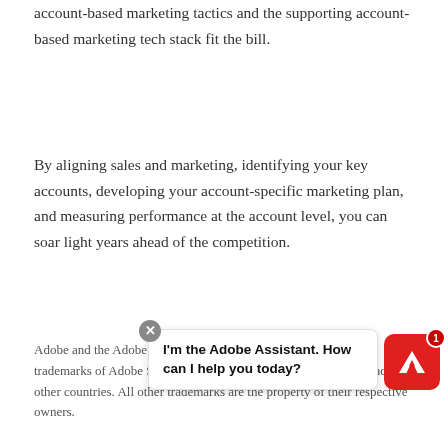account-based marketing tactics and the supporting account-based marketing tech stack fit the bill.
By aligning sales and marketing, identifying your key accounts, developing your account-specific marketing plan, and measuring performance at the account level, you can soar light years ahead of the competition.
Adobe and the Adobe logo are either registered trademarks or trademarks of Adobe Systems Incorporated in the United States and/or other countries. All other trademarks are the property of their respective owners.
[Figure (screenshot): Adobe Assistant chat bubble overlay with close button and Adobe logo icon with notification badge showing '1'. Chat bubble text: I'm the Adobe Assistant. How can I help you today?]